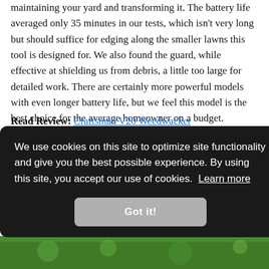maintaining your yard and transforming it. The battery life averaged only 35 minutes in our tests, which isn't very long but should suffice for edging along the smaller lawns this tool is designed for. We also found the guard, while effective at shielding us from debris, a little too large for detailed work. There are certainly more powerful models with even longer battery life, but we feel this model is the best choice for the average homeowner on a budget.
Read Review: Craftsman V20 Weedwacker
[Figure (screenshot): Cookie consent overlay on a dark background, reading: 'We use cookies on this site to optimize site functionality and give you the best possible experience. By using this site, you accept our use of cookies. Learn more' with a 'Got it!' button.]
[Figure (photo): Green garden/lawn background photo visible in the lower right and bottom of the page.]